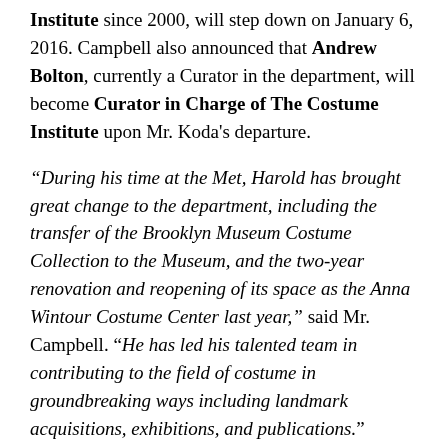Institute since 2000, will step down on January 6, 2016. Campbell also announced that Andrew Bolton, currently a Curator in the department, will become Curator in Charge of The Costume Institute upon Mr. Koda's departure.
“During his time at the Met, Harold has brought great change to the department, including the transfer of the Brooklyn Museum Costume Collection to the Museum, and the two-year renovation and reopening of its space as the Anna Wintour Costume Center last year,” said Mr. Campbell. “He has led his talented team in contributing to the field of costume in groundbreaking ways including landmark acquisitions, exhibitions, and publications.”
He continued: “I am certain that Andrew, known for his extraordinary creativity and scholarship, will carry on Harold’s tradition of curatorial excellence. His rigorous research and innovative approach to installation make him a visionary curator who constantly collaborates with colleagues both within